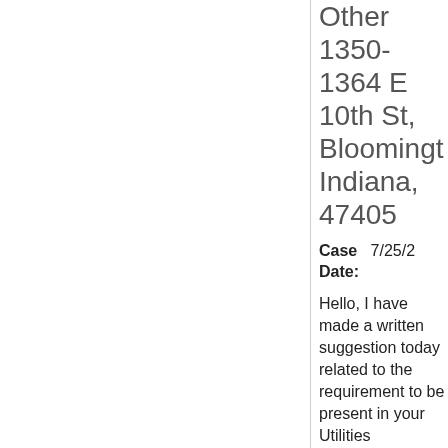Other 1350-1364 E 10th St, Bloomington Indiana, 47405
Case Date: 7/25/2...
Hello, I have made a written suggestion today related to the requirement to be present in your Utilities